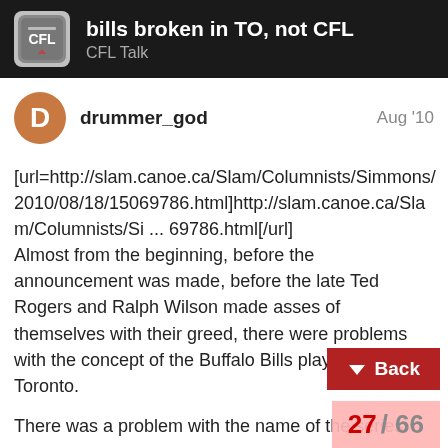bills broken in TO, not CFL | CFL Talk
drummer_god  Aug '10
[url=http://slam.canoe.ca/Slam/Columnists/Simmons/2010/08/18/15069786.html]http://slam.canoe.ca/Slam/Columnists/Si ... 69786.html[/url]
Almost from the beginning, before the announcement was made, before the late Ted Rogers and Ralph Wilson made asses of themselves with their greed, there were problems with the concept of the Buffalo Bills playing games in Toronto.

There was a problem with the name of the series.

The Bills wanted to call the series of Na    all League games: Bills In Toronto, thus    Buffalo team engaging in a new ma